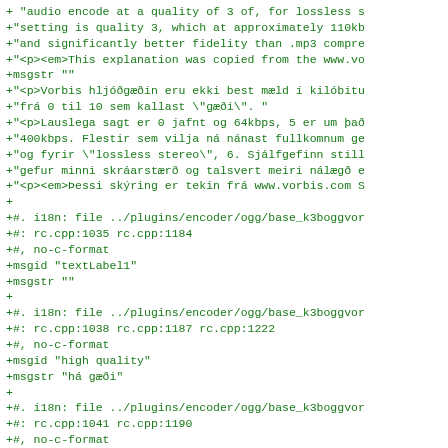+ "audio encode at a quality of 3 of, for lossless s...
+"setting is quality 3, which at approximately 110kb...
+"and significantly better fidelity than .mp3 compre...
+"<p><em>This explanation was copied from the www.vo...
+msgstr ""
+"<p>Vorbis hljóðgæðin eru ekki best mæld í kilóbitu...
+"frá 0 til 10 sem kallast \"gæði\". "
+"<p>Lauslega sagt er 0 jafnt og 64kbps, 5 er um það...
+"400kbps. Flestir sem vilja ná nánast fullkomnum ge...
+"og fyrir \"lossless stereo\", 6. Sjálfgefinn still...
+"gefur minni skráarstærð og talsvert meiri nálægð e...
+"<p><em>Þessi skýring er tekin frá www.vorbis.com S...
+
+#. i18n: file ../plugins/encoder/ogg/base_k3boggvor...
+#: rc.cpp:1035 rc.cpp:1184
+#, no-c-format
+msgid "textLabel1"
+msgstr ""
+
+#. i18n: file ../plugins/encoder/ogg/base_k3boggvor...
+#: rc.cpp:1038 rc.cpp:1187 rc.cpp:1222
+#, no-c-format
+msgid "high quality"
+msgstr "há gæði"
+
+#. i18n: file ../plugins/encoder/ogg/base_k3boggvor...
+#: rc.cpp:1041 rc.cpp:1190
+#, no-c-format
+msgid "small file"
+msgstr "litil skrá"
+